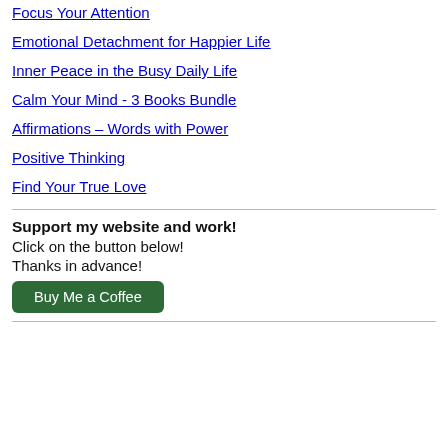Focus Your Attention
Emotional Detachment for Happier Life
Inner Peace in the Busy Daily Life
Calm Your Mind - 3 Books Bundle
Affirmations – Words with Power
Positive Thinking
Find Your True Love
Support my website and work!
Click on the button below!
Thanks in advance!
Buy Me a Coffee